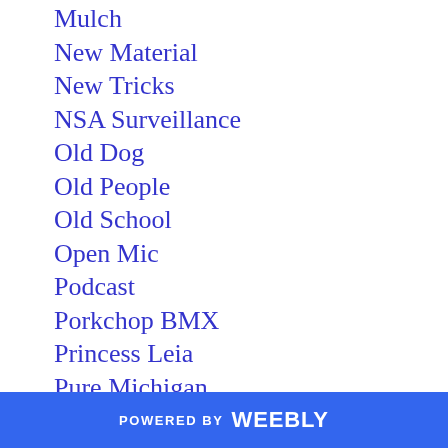Mulch
New Material
New Tricks
NSA Surveillance
Old Dog
Old People
Old School
Open Mic
Podcast
Porkchop BMX
Princess Leia
Pure Michigan
Recovery
Renewed Vigor
Rey
POWERED BY weebly